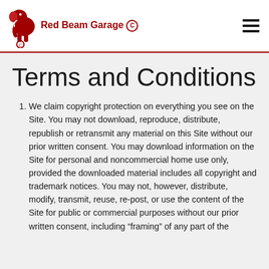Red Beam Garage
Terms and Conditions
We claim copyright protection on everything you see on the Site. You may not download, reproduce, distribute, republish or retransmit any material on this Site without our prior written consent. You may download information on the Site for personal and noncommercial home use only, provided the downloaded material includes all copyright and trademark notices. You may not, however, distribute, modify, transmit, reuse, re-post, or use the content of the Site for public or commercial purposes without our prior written consent, including “framing” of any part of the